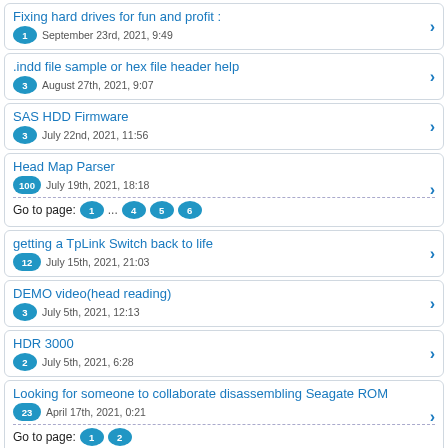Fixing hard drives for fun and profit :
1 September 23rd, 2021, 9:49
.indd file sample or hex file header help
3 August 27th, 2021, 9:07
SAS HDD Firmware
3 July 22nd, 2021, 11:56
Head Map Parser
100 July 19th, 2021, 18:18
Go to page: 1 ... 4 5 6
getting a TpLink Switch back to life
12 July 15th, 2021, 21:03
DEMO video(head reading)
3 July 5th, 2021, 12:13
HDR 3000
2 July 5th, 2021, 6:28
Looking for someone to collaborate disassembling Seagate ROM
23 April 17th, 2021, 0:21
Go to page: 1 2
SpyGlass2 (e.g. WD50NDZW-11MR8S1)